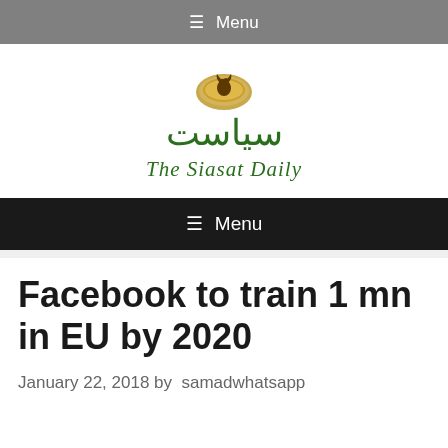≡ Menu
[Figure (logo): The Siasat Daily logo with a golden bird emblem, Arabic text 'سياست' in green, and English blackletter text 'The Siasat Daily' in green]
≡ Menu
Facebook to train 1 mn in EU by 2020
January 22, 2018 by samadwhatsapp